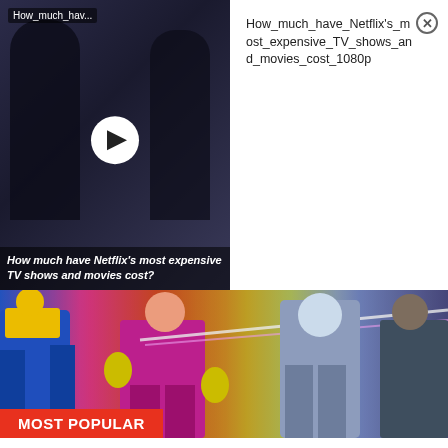[Figure (screenshot): Video thumbnail showing two dark silhouetted figures against a dark background, with a white play button circle in the center and text label 'How_much_hav...' at top left]
How much have Netflix's most expensive TV shows and movies cost?
How_much_have_Netflix's_most_expensive_TV_shows_and_movies_cost_1080p
[Figure (photo): Colorful anime/manga characters including Dragon Ball Super characters in action poses]
MOST POPULAR
[123movies] Watch 'Dragon Ball Super: Super Hero' 2022 (Free) Online Streaming At~Home
Film Daily
[Figure (photo): Elderly man with grey hair looking concerned or stressed, photographed against a light background]